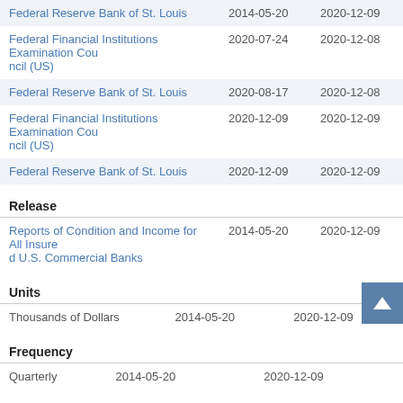| Source | Date Added | Last Updated |
| --- | --- | --- |
| Federal Reserve Bank of St. Louis | 2014-05-20 | 2020-12-09 |
| Federal Financial Institutions Examination Council (US) | 2020-07-24 | 2020-12-08 |
| Federal Reserve Bank of St. Louis | 2020-08-17 | 2020-12-08 |
| Federal Financial Institutions Examination Council (US) | 2020-12-09 | 2020-12-09 |
| Federal Reserve Bank of St. Louis | 2020-12-09 | 2020-12-09 |
Release
| Release | Date Added | Last Updated |
| --- | --- | --- |
| Reports of Condition and Income for All Insured U.S. Commercial Banks | 2014-05-20 | 2020-12-09 |
Units
| Units | Date Added | Last Updated |
| --- | --- | --- |
| Thousands of Dollars | 2014-05-20 | 2020-12-09 |
Frequency
| Frequency | Date Added | Last Updated |
| --- | --- | --- |
| Quarterly | 2014-05-20 | 2020-12-09 |
Seasonal Adjustment